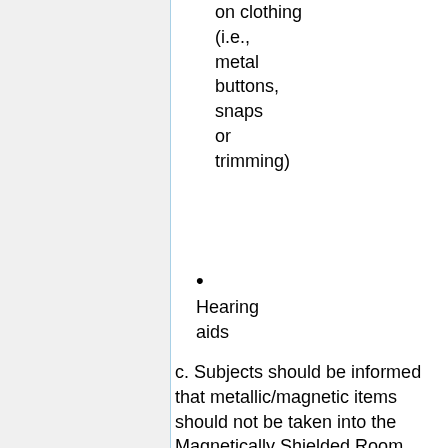on clothing (i.e., metal buttons, snaps or trimming)
Hearing aids
c. Subjects should be informed that metallic/magnetic items should not be taken into the Magnetically Shielded Room (MSR). These include such items as: